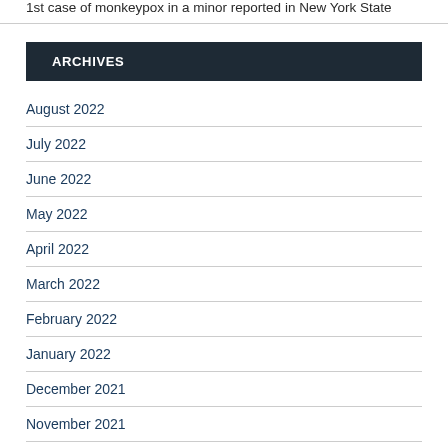1st case of monkeypox in a minor reported in New York State
ARCHIVES
August 2022
July 2022
June 2022
May 2022
April 2022
March 2022
February 2022
January 2022
December 2021
November 2021